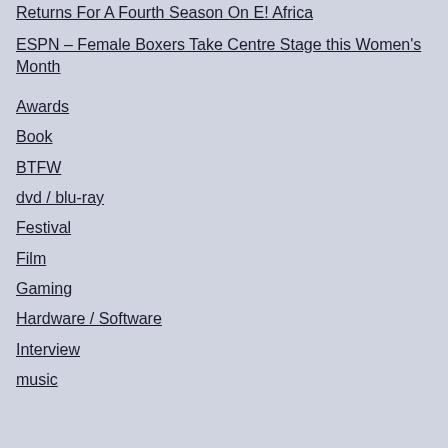Returns For A Fourth Season On E! Africa
ESPN – Female Boxers Take Centre Stage this Women's Month
Awards
Book
BTFW
dvd / blu-ray
Festival
Film
Gaming
Hardware / Software
Interview
music